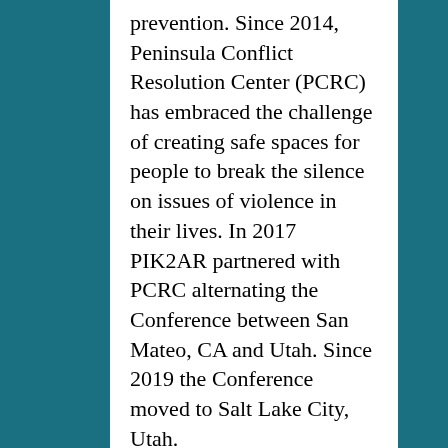prevention. Since 2014, Peninsula Conflict Resolution Center (PCRC) has embraced the challenge of creating safe spaces for people to break the silence on issues of violence in their lives. In 2017 PIK2AR partnered with PCRC alternating the Conference between San Mateo, CA and Utah. Since 2019 the Conference moved to Salt Lake City, Utah.
Join us for 3 Days of Education specific to our Pacific Communities. Open to all service providers and practitioners who serve Pacific Islanders, and other minoritized, communities to expand and enhance their cultural understanding, strengthen existing